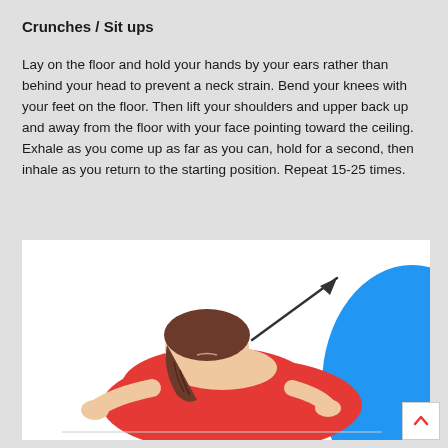Crunches / Sit ups
Lay on the floor and hold your hands by your ears rather than behind your head to prevent a neck strain. Bend your knees with your feet on the floor. Then lift your shoulders and upper back up and away from the floor with your face pointing toward the ceiling. Exhale as you come up as far as you can, hold for a second, then inhale as you return to the starting position. Repeat 15-25 times.
[Figure (illustration): Illustration of a woman lying on her back doing a crunch/sit-up exercise. She has brown hair and is wearing a red top, with her hands behind her head/ears. A diagonal arrow points upward and to the right indicating the direction of movement. A blue curved shape appears on the right side of the image representing an exercise ball.]